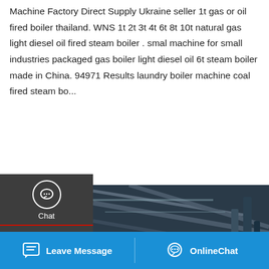Machine Factory Direct Supply Ukraine seller 1t gas or oil fired boiler thailand. WNS 1t 2t 3t 4t 6t 8t 10t natural gas light diesel oil fired steam boiler . smal machine for small industries packaged gas boiler light diesel oil 6t steam boiler made in China. 94971 Results laundry boiler machine coal fired steam bo...
[Figure (screenshot): Left sidebar with Chat, Email, and Contact icons on dark background]
[Figure (screenshot): Yellow 'Get a Quote' button]
[Figure (photo): Industrial boiler room with pipes and steel structure ceiling]
[Figure (screenshot): WhatsApp sticker save bar with purple/pink gradient background and app icons]
[Figure (screenshot): Bottom navigation bar with Leave Message and OnlineChat buttons on blue background]